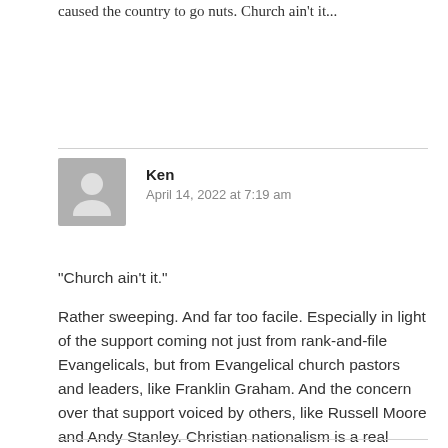caused the country to go nuts. Church ain't it...
Ken
April 14, 2022 at 7:19 am
“Church ain’t it.”
Rather sweeping. And far too facile. Especially in light of the support coming not just from rank-and-file Evangelicals, but from Evangelical church pastors and leaders, like Franklin Graham. And the concern over that support voiced by others, like Russell Moore and Andy Stanley. Christian nationalism is a real problem, a church problem.